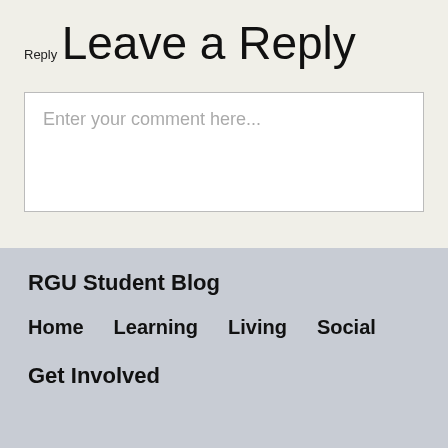Reply
Leave a Reply
Enter your comment here...
RGU Student Blog
Home
Learning
Living
Social
Get Involved